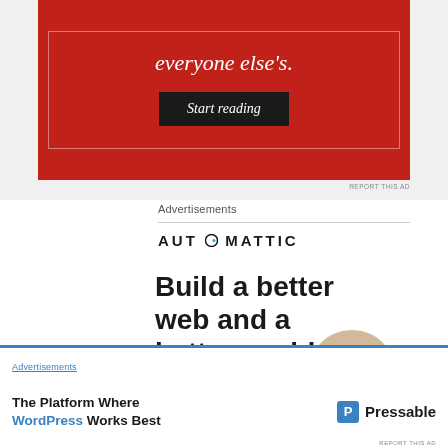[Figure (other): Red advertisement banner with italic text 'everyone else's.' and a black 'Start reading' button]
REPORT THIS AD
Advertisements
[Figure (logo): AUTOMATTIC logo with stylized letter O]
Build a better web and a better world.
[Figure (other): Blue 'Apply' button for Automattic job ad, with circular photo of a person]
Advertisements
[Figure (other): Pressable advertisement: 'The Platform Where WordPress Works Best' with Pressable logo]